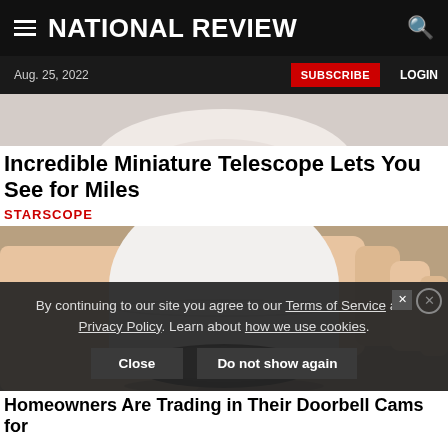NATIONAL REVIEW
Aug. 25, 2022 | SUBSCRIBE | LOGIN
[Figure (photo): Partial top view of a white round camera or device against light background]
Incredible Miniature Telescope Lets You See for Miles
STARSCOPE
[Figure (photo): A hand holding a small white dome-shaped miniature telescope/monocular device with a black lens ring, placed on a wooden surface]
By continuing to our site you agree to our Terms of Service and Privacy Policy. Learn about how we use cookies.
Close | Do not show again
Homeowners Are Trading in Their Doorbell Cams for